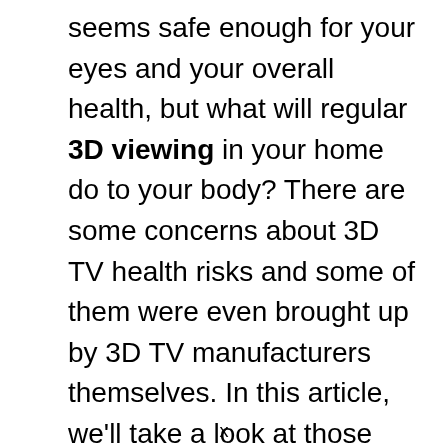seems safe enough for your eyes and your overall health, but what will regular 3D viewing in your home do to your body? There are some concerns about 3D TV health risks and some of them were even brought up by 3D TV manufacturers themselves. In this article, we'll take a look at those health risk claims and discuss if we should be wary of watching 3D content on 3D TVs.
x